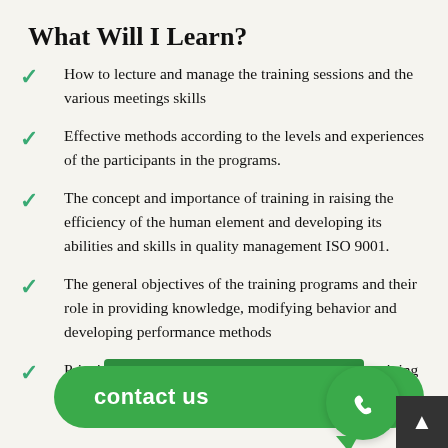What Will I Learn?
How to lecture and manage the training sessions and the various meetings skills
Effective methods according to the levels and experiences of the participants in the programs.
The concept and importance of training in raising the efficiency of the human element and developing its abilities and skills in quality management ISO 9001.
The general objectives of the training programs and their role in providing knowledge, modifying behavior and developing performance methods
Principles ... f scientific training
[Figure (other): Green 'contact us' button overlay with phone icon bubble and scroll-to-top button]